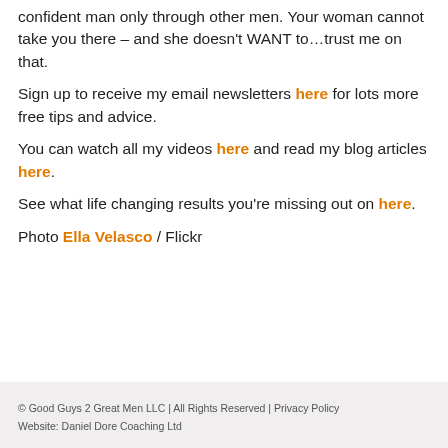confident man only through other men. Your woman cannot take you there – and she doesn't WANT to…trust me on that.
Sign up to receive my email newsletters here for lots more free tips and advice.
You can watch all my videos here and read my blog articles here.
See what life changing results you're missing out on here.
Photo Ella Velasco / Flickr
© Good Guys 2 Great Men LLC | All Rights Reserved | Privacy Policy Website: Daniel Dore Coaching Ltd